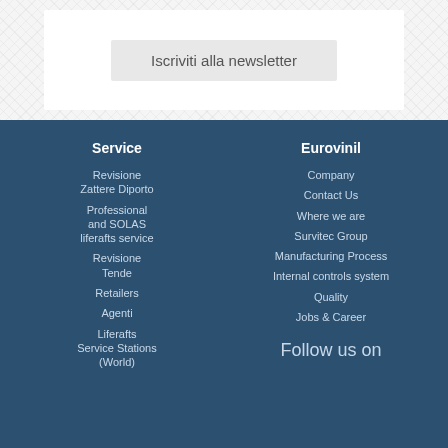Iscriviti alla newsletter
Service
Revisione Zattere Diporto
Professional and SOLAS liferafts service
Revisione Tende
Retailers
Agenti
Liferafts Service Stations (World)
Eurovinil
Company
Contact Us
Where we are
Survitec Group
Manufacturing Process
Internal controls system
Quality
Jobs & Career
Follow us on